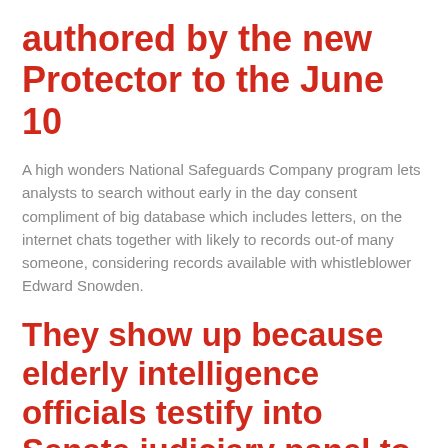authored by the new Protector to the June 10
A high wonders National Safeguards Company program lets analysts to search without early in the day consent compliment of big database which includes letters, on the internet chats together with likely to records out-of many someone, considering records available with whistleblower Edward Snowden.
They show up because elderly intelligence officials testify into Senate judiciary panel to your Wednesday, starting classified records as a result to your Guardian’s before tales into vast majority distinctive line of cellular telephone details and Fisa security legal